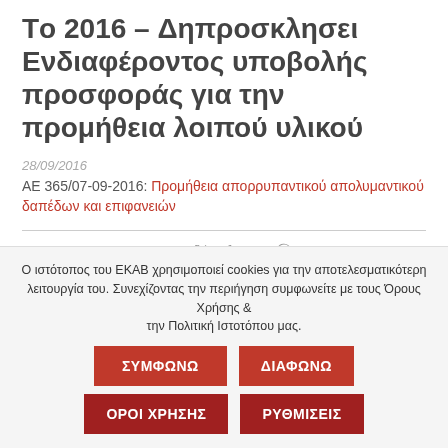Τo 2016 – Δηπροσκλησει Ενδιαφέροντος υποβολής προσφοράς για την προμήθεια λοιπού υλικού
28/09/2016
ΑΕ 365/07-09-2016: Προμήθεια απορρυπαντικού απολυμαντικού δαπέδων και επιφανειών
Θεσσαλονίκη
Ο ιστότοπος του ΕΚΑΒ χρησιμοποιεί cookies για την αποτελεσματικότερη λειτουργία του. Συνεχίζοντας την περιήγηση συμφωνείτε με τους Όρους Χρήσης & την Πολιτική Ιστοτόπου μας.
ΣΥΜΦΩΝΩ | ΔΙΑΦΩΝΩ | ΟΡΟΙ ΧΡΗΣΗΣ | ΡΥΘΜΙΣΕΙΣ